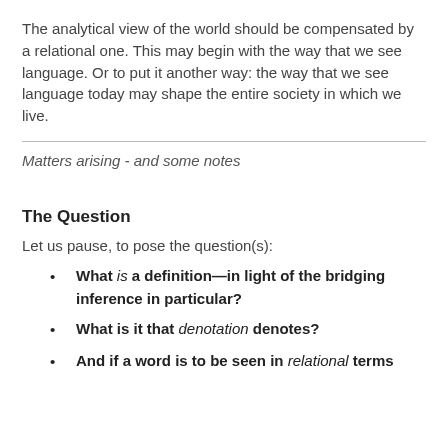The analytical view of the world should be compensated by a relational one. This may begin with the way that we see language. Or to put it another way: the way that we see language today may shape the entire society in which we live.
Matters arising - and some notes
The Question
Let us pause, to pose the question(s):
What is a definition—in light of the bridging inference in particular?
What is it that denotation denotes?
And if a word is to be seen in relational terms